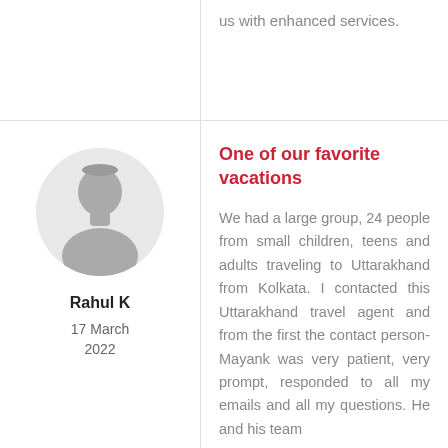us with enhanced services.
[Figure (illustration): Gray silhouette avatar placeholder image in a circular frame]
Rahul K
17 March 2022
One of our favorite vacations
We had a large group, 24 people from small children, teens and adults traveling to Uttarakhand from Kolkata. I contacted this Uttarakhand travel agent and from the first the contact person-Mayank was very patient, very prompt, responded to all my emails and all my questions. He and his team